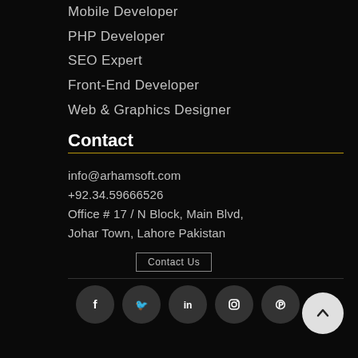Mobile Developer
PHP Developer
SEO Expert
Front-End Developer
Web & Graphics Designer
Contact
info@arhamsoft.com
+92.34.59666526
Office # 17 / N Block, Main Blvd,
Johar Town, Lahore Pakistan
Contact Us
[Figure (illustration): Social media icons row: Facebook, Twitter, LinkedIn, Instagram, Pinterest — white icons on dark rounded circles. Back-to-top arrow button (white circle, dark chevron) at bottom right.]